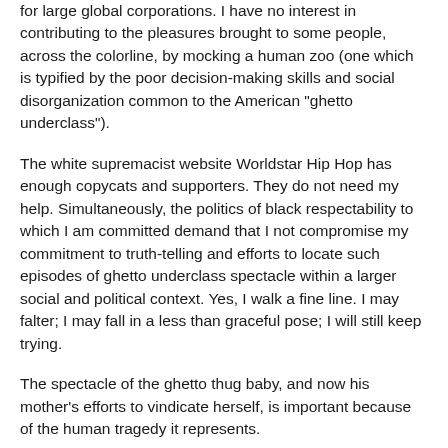for large global corporations. I have no interest in contributing to the pleasures brought to some people, across the colorline, by mocking a human zoo (one which is typified by the poor decision-making skills and social disorganization common to the American "ghetto underclass").
The white supremacist website Worldstar Hip Hop has enough copycats and supporters. They do not need my help. Simultaneously, the politics of black respectability to which I am committed demand that I not compromise my commitment to truth-telling and efforts to locate such episodes of ghetto underclass spectacle within a larger social and political context. Yes, I walk a fine line. I may falter; I may fall in a less than graceful pose; I will still keep trying.
The spectacle of the ghetto thug baby, and now his mother's efforts to vindicate herself, is important because of the human tragedy it represents.
Some may call my use of the phrase "human tragedy" hyperbolic and exaggerated. I disagree. Based on the